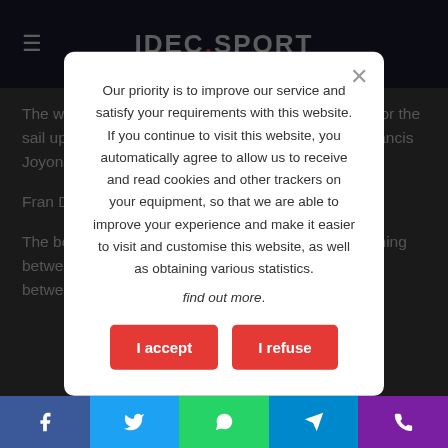IDEC.SPORT
The weather conditions in the English Channel and for the sail up the Thames are tricky, but should not stop Francis Joyon and [crew] at the T[hames] in style.
Fran[cis] Dum[as] sam[e] trim[med] for the T[hames].
The boat is set to enter the Thames early in the morning between 5 and 6 local time and then cross the line between 7
[Figure (screenshot): Cookie consent modal dialog with accept and refuse buttons over a dimmed article page about Francis Joyon sailing the Thames]
Our priority is to improve our service and satisfy your requirements with this website. If you continue to visit this website, you automatically agree to allow us to receive and read cookies and other trackers on your equipment, so that we are able to improve your experience and make it easier to visit and customise this website, as well as obtaining various statistics.
find out more.
Facebook | Twitter | WhatsApp | Telegram | Phone